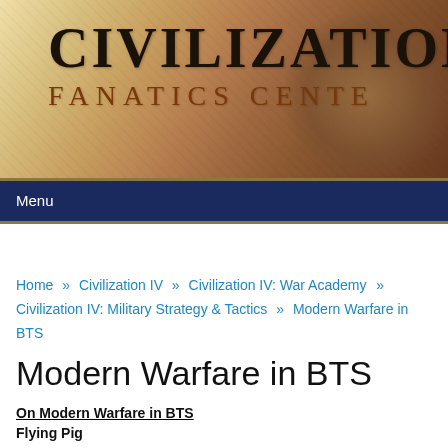[Figure (logo): Civilization Fanatics Center header banner with large text CIVILIZATION and FANATICS CENTER on a golden/brown textured background]
Menu
Home » Civilization IV » Civilization IV: War Academy » Civilization IV: Military Strategy & Tactics » Modern Warfare in BTS
Modern Warfare in BTS
On Modern Warfare in BTS
Flying Pig
This article is an attempt to make a guide to warfare in ages beyond